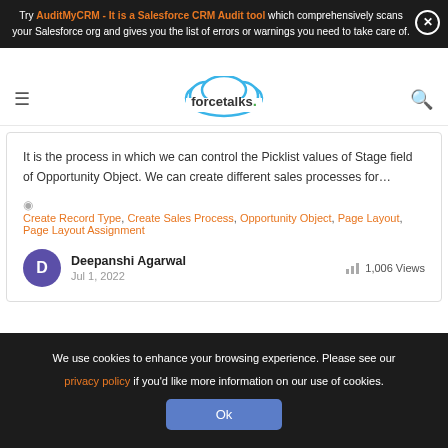Try AuditMyCRM - It is a Salesforce CRM Audit tool which comprehensively scans your Salesforce org and gives you the list of errors or warnings you need to take care of.
[Figure (logo): forcetalks. logo with cloud icon in blue and green dot]
It is the process in which we can control the Picklist values of Stage field of Opportunity Object. We can create different sales processes for…
Create Record Type, Create Sales Process, Opportunity Object, Page Layout, Page Layout Assignment
Deepanshi Agarwal
Jul 1, 2022
1,006 Views
We use cookies to enhance your browsing experience. Please see our privacy policy if you'd like more information on our use of cookies. Ok